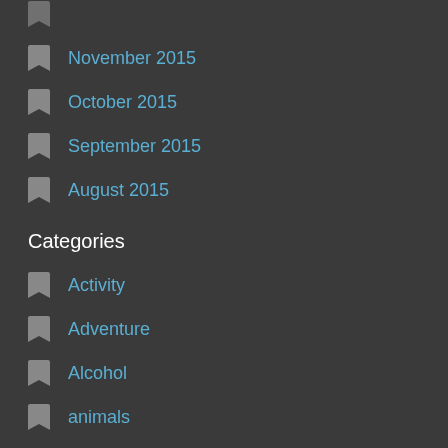November 2015
October 2015
September 2015
August 2015
Categories
Activity
Adventure
Alcohol
animals
Argentina
Art/Culture